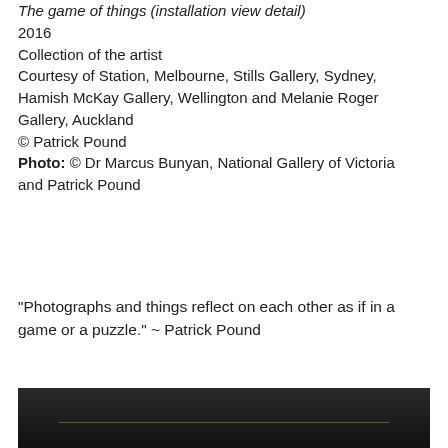The game of things (installation view detail)
2016
Collection of the artist
Courtesy of Station, Melbourne, Stills Gallery, Sydney, Hamish McKay Gallery, Wellington and Melanie Roger Gallery, Auckland
© Patrick Pound
Photo: © Dr Marcus Bunyan, National Gallery of Victoria and Patrick Pound
“Photographs and things reflect on each other as if in a game or a puzzle.” ~ Patrick Pound
[Figure (photo): Dark photographic image strip at bottom of page, showing a dark scene with a faint horizontal golden line]